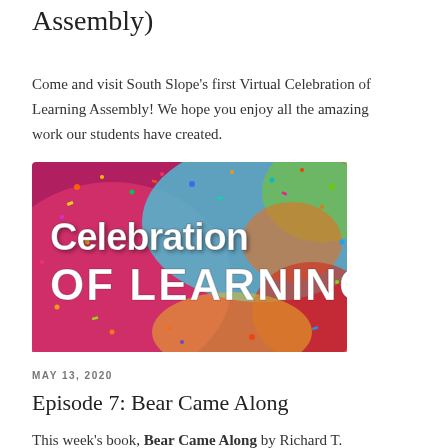Assembly)
Come and visit South Slope's first Virtual Celebration of Learning Assembly! We hope you enjoy all the amazing work our students have created.
[Figure (illustration): Colorful confetti splash background with white bold text reading 'Celebration OF LEARNING']
MAY 13, 2020
Episode 7: Bear Came Along
This week's book, Bear Came Along by Richard T.